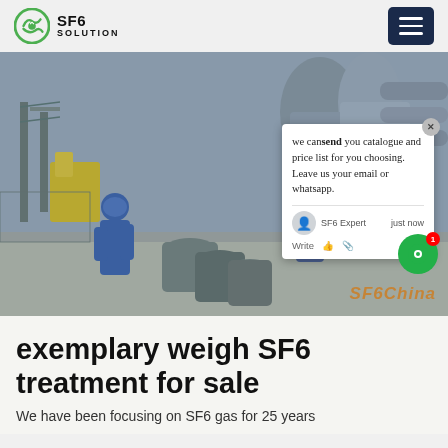SF6 SOLUTION
[Figure (photo): Two workers in blue coveralls and blue hard hats handling large gray SF6 gas cylinders on a concrete pad at an industrial substation facility. A chat popup overlay is visible on the right side of the image with text: 'we can send you catalogue and price list for you choosing. Leave us your email or whatsapp.' attributed to SF6 Expert, just now. A watermark reading SF6China is at the bottom right.]
exemplary weigh SF6 treatment for sale
We have been focusing on SF6 gas for 25 years